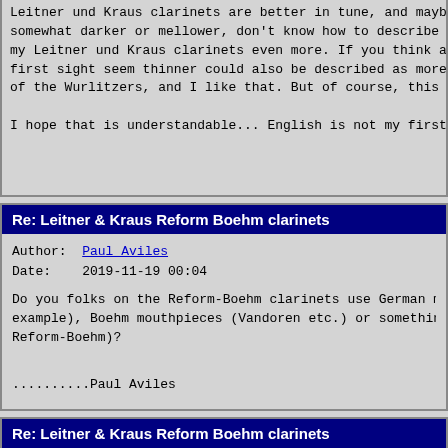Leitner und Kraus clarinets are better in tune, and maybe th somewhat darker or mellower, don't know how to describe it. my Leitner und Kraus clarinets even more. If you think about first sight seem thinner could also be described as more foc of the Wurlitzers, and I like that. But of course, this is v

I hope that is understandable... English is not my first lan
Re: Leitner & Kraus Reform Boehm clarinets
Author: Paul Aviles
Date:   2019-11-19 00:04
Do you folks on the Reform-Boehm clarinets use German mouthp example), Boehm mouthpieces (Vandoren etc.) or something in Reform-Boehm)?
..........Paul Aviles
Re: Leitner & Kraus Reform Boehm clarinets